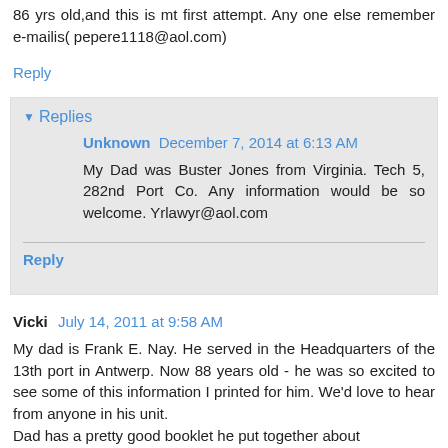86 yrs old,and this is mt first attempt. Any one else remember e-mailis( pepere1118@aol.com)
Reply
▾ Replies
Unknown  December 7, 2014 at 6:13 AM
My Dad was Buster Jones from Virginia. Tech 5, 282nd Port Co. Any information would be so welcome. Yrlawyr@aol.com
Reply
Vicki  July 14, 2011 at 9:58 AM
My dad is Frank E. Nay. He served in the Headquarters of the 13th port in Antwerp. Now 88 years old - he was so excited to see some of this information I printed for him. We'd love to hear from anyone in his unit. Dad has a pretty good booklet he put together about